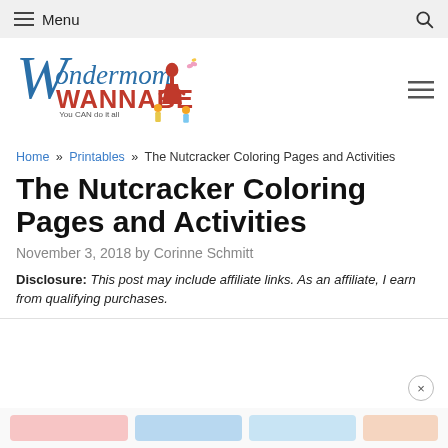Menu
[Figure (logo): Wondermom Wannabe logo with woman in red dress and children, text 'You CAN do it all']
Home » Printables » The Nutcracker Coloring Pages and Activities
The Nutcracker Coloring Pages and Activities
November 3, 2018 by Corinne Schmitt
Disclosure: This post may include affiliate links. As an affiliate, I earn from qualifying purchases.